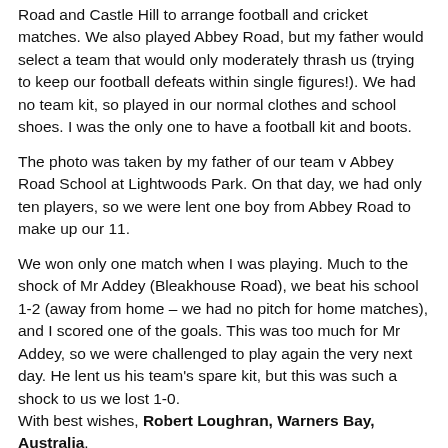Road and Castle Hill to arrange football and cricket matches. We also played Abbey Road, but my father would select a team that would only moderately thrash us (trying to keep our football defeats within single figures!). We had no team kit, so played in our normal clothes and school shoes. I was the only one to have a football kit and boots.
The photo was taken by my father of our team v Abbey Road School at Lightwoods Park. On that day, we had only ten players, so we were lent one boy from Abbey Road to make up our 11.
We won only one match when I was playing. Much to the shock of Mr Addey (Bleakhouse Road), we beat his school 1-2 (away from home – we had no pitch for home matches), and I scored one of the goals. This was too much for Mr Addey, so we were challenged to play again the very next day. He lent us his team's spare kit, but this was such a shock to us we lost 1-0. With best wishes, Robert Loughran, Warners Bay, Australia.